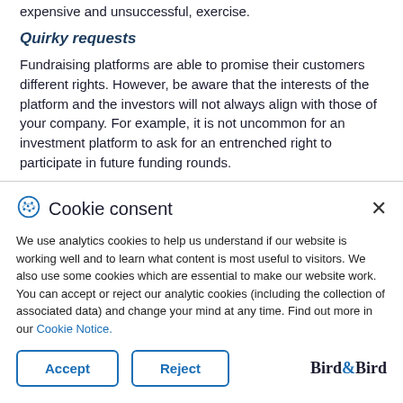expensive and unsuccessful, exercise.
Quirky requests
Fundraising platforms are able to promise their customers different rights. However, be aware that the interests of the platform and the investors will not always align with those of your company. For example, it is not uncommon for an investment platform to ask for an entrenched right to participate in future funding rounds.
Cookie consent
We use analytics cookies to help us understand if our website is working well and to learn what content is most useful to visitors. We also use some cookies which are essential to make our website work. You can accept or reject our analytic cookies (including the collection of associated data) and change your mind at any time. Find out more in our Cookie Notice.